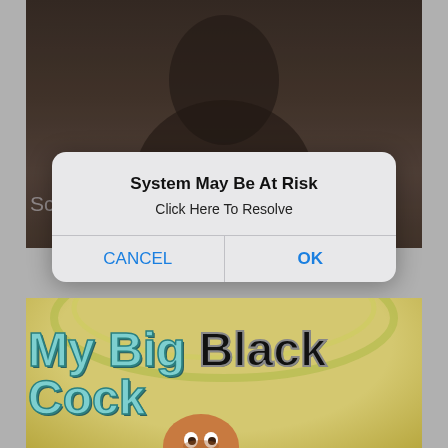[Figure (screenshot): Top portion of a webpage or app screen showing a dark/dim photo background with a watermark text 'Sci fi books for teens' partially visible]
[Figure (screenshot): iOS-style system alert dialog box overlaying the top image. Title: 'System May Be At Risk', message: 'Click Here To Resolve', with CANCEL and OK buttons in blue]
System May Be At Risk
Click Here To Resolve
CANCEL
OK
[Figure (photo): Bottom portion showing a book cover with colorful cartoon-style text reading 'My Big Black Cock' with teal/cyan colored decorative lettering on a yellow-green background, with a cartoon character head visible at bottom]